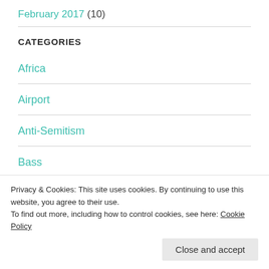February 2017 (10)
CATEGORIES
Africa
Airport
Anti-Semitism
Bass
Privacy & Cookies: This site uses cookies. By continuing to use this website, you agree to their use.
To find out more, including how to control cookies, see here: Cookie Policy
Close and accept